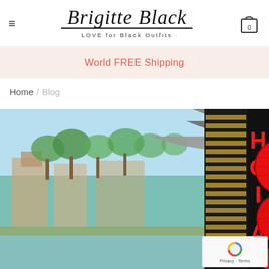Brigitte Black — LOVE for Black Outfits
World FREE Shipping
Home / Blog
[Figure (photo): Photo of Hoi An, Vietnam: red lanterns hanging from a traditional rooftop over a river, with palm trees and riverside buildings in the background. On the right side, a black sign with large red letters spelling HOI AN.]